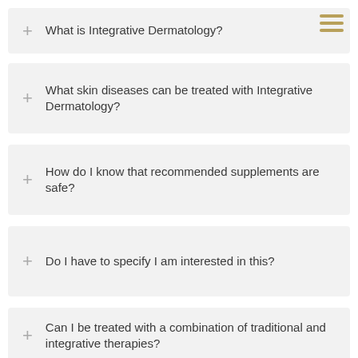What is Integrative Dermatology?
What skin diseases can be treated with Integrative Dermatology?
How do I know that recommended supplements are safe?
Do I have to specify I am interested in this?
Can I be treated with a combination of traditional and integrative therapies?